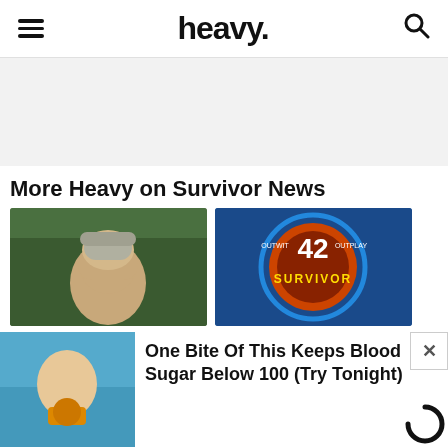heavy.
[Figure (other): Advertisement / blank gray area]
More Heavy on Survivor News
[Figure (photo): Man wearing a cap outdoors with trees in background]
[Figure (photo): Survivor 42 logo with 'Outwit Outplay' text and orange flame design]
[Figure (photo): Person holding food item, partial view]
One Bite Of This Keeps Blood Sugar Below 100 (Try Tonight)